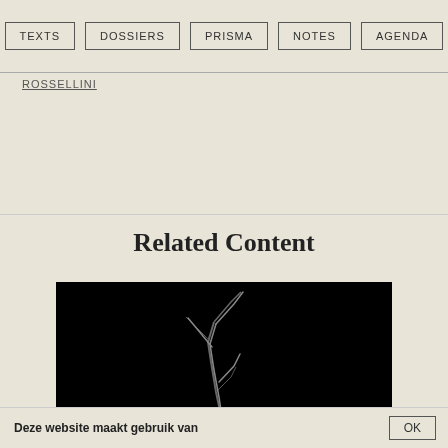TEXTS | DOSSIERS | PRISMA | NOTES | AGENDA
ROSSELLINI
Related Content
[Figure (photo): Black and white photo with dark background showing bare twig or branch silhouette at bottom]
Deze website maakt gebruik van